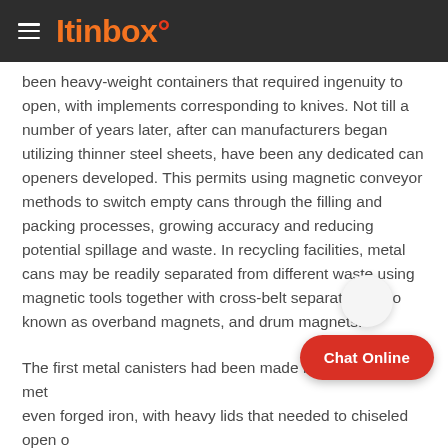Itinbox
been heavy-weight containers that required ingenuity to open, with implements corresponding to knives. Not till a number of years later, after can manufacturers began utilizing thinner steel sheets, have been any dedicated can openers developed. This permits using magnetic conveyor methods to switch empty cans through the filling and packing processes, growing accuracy and reducing potential spillage and waste. In recycling facilities, metal cans may be readily separated from different waste using magnetic tools together with cross-belt separators, also known as overband magnets, and drum magnets.
The first metal canisters had been made from tin-plated metal or even forged iron, with heavy lids that needed to chiseled open or stabbed by way of with soldiers' bayonets. Tinplate is a high quality safe packaging material for food gadgets, candies, goodies, etc and it is a sort of recycled material. AliExpress